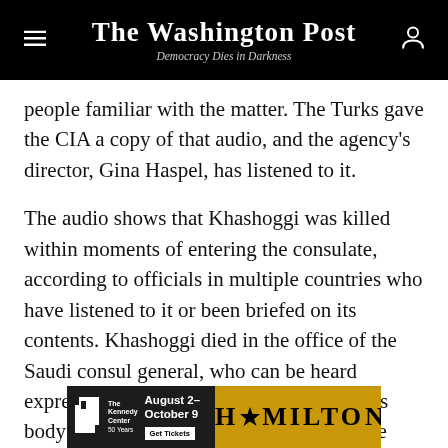The Washington Post — Democracy Dies in Darkness
people familiar with the matter. The Turks gave the CIA a copy of that audio, and the agency's director, Gina Haspel, has listened to it.
The audio shows that Khashoggi was killed within moments of entering the consulate, according to officials in multiple countries who have listened to it or been briefed on its contents. Khashoggi died in the office of the Saudi consul general, who can be heard expressing his displeasure that Khashoggi's body now needed to be disposed of and the facility cleaned of any evidence, according to people familiar with the audio
[Figure (infographic): Advertisement banner for The Kennedy Center Hamilton show, August 2 – October 9, Get Tickets]